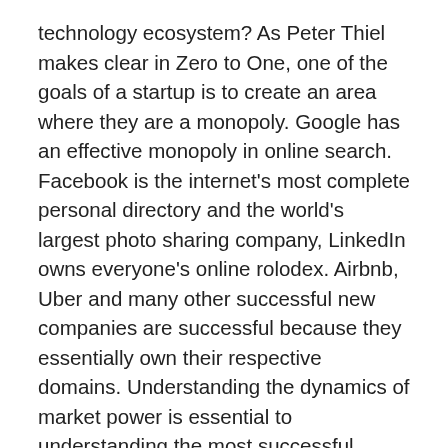technology ecosystem? As Peter Thiel makes clear in Zero to One, one of the goals of a startup is to create an area where they are a monopoly. Google has an effective monopoly in online search. Facebook is the internet's most complete personal directory and the world's largest photo sharing company, LinkedIn owns everyone's online rolodex. Airbnb, Uber and many other successful new companies are successful because they essentially own their respective domains. Understanding the dynamics of market power is essential to understanding the most successful technology companies.
Once a firm is first to market, the question of what extent they should go to in order to deter competitors is a complicated question. In 1984, Jean Tirole and Drew Fudenberg plublished a paper on whether firms in various scenarios should over invest to protect their